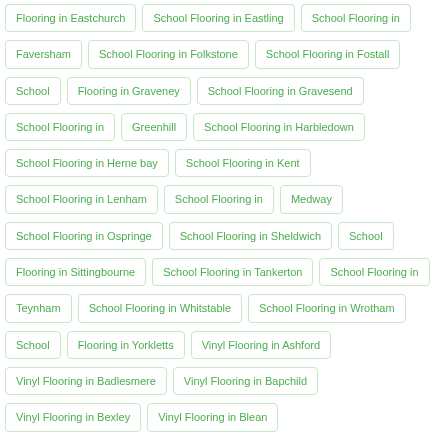Flooring in Eastchurch
School Flooring in Eastling
School Flooring in
Faversham
School Flooring in Folkstone
School Flooring in Fostall
School
Flooring in Graveney
School Flooring in Gravesend
School Flooring in
Greenhill
School Flooring in Harbledown
School Flooring in Herne bay
School Flooring in Kent
School Flooring in Lenham
School Flooring in
Medway
School Flooring in Ospringe
School Flooring in Sheldwich
School
Flooring in Sittingbourne
School Flooring in Tankerton
School Flooring in
Teynham
School Flooring in Whitstable
School Flooring in Wrotham
School
Flooring in Yorkletts
Vinyl Flooring in Ashford
Vinyl Flooring in Badlesmere
Vinyl Flooring in Bapchild
Vinyl Flooring in Bexley
Vinyl Flooring in Blean